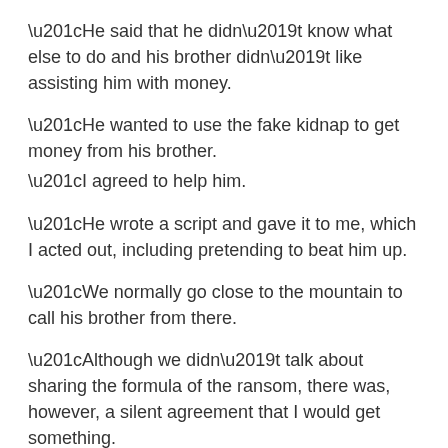“He said that he didn’t know what else to do and his brother didn’t like assisting him with money.
“He wanted to use the fake kidnap to get money from his brother.
“I agreed to help him.
“He wrote a script and gave it to me, which I acted out, including pretending to beat him up.
“We normally go close to the mountain to call his brother from there.
“Although we didn’t talk about sharing the formula of the ransom, there was, however, a silent agreement that I would get something.
“I wanted to use the money to head to the east for something.”